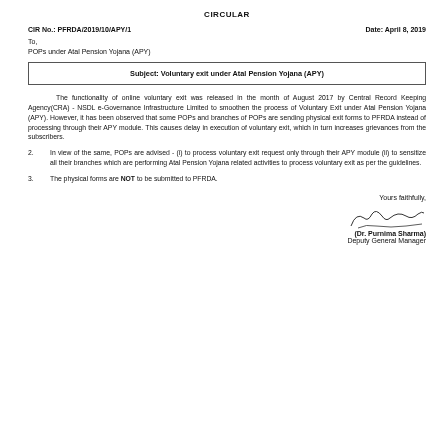CIRCULAR
CIR No.: PFRDA/2019/10/APY/1						Date: April 8, 2019
To,
POPs under Atal Pension Yojana (APY)
Subject: Voluntary exit under Atal Pension Yojana (APY)
The functionality of online voluntary exit was released in the month of August 2017 by Central Record Keeping Agency(CRA) - NSDL e-Governance Infrastructure Limited to smoothen the process of Voluntary Exit under Atal Pension Yojana (APY). However, it has been observed that some POPs and branches of POPs are sending physical exit forms to PFRDA instead of processing through their APY module. This causes delay in execution of voluntary exit, which in turn increases grievances from the subscribers.
2.	In view of the same, POPs are advised - (i) to process voluntary exit request only through their APY module (ii) to sensitize all their branches which are performing Atal Pension Yojana related activities to process voluntary exit as per the guidelines.
3.	The physical forms are NOT to be submitted to PFRDA.
Yours faithfully,
(Dr. Purnima Sharma)
Deputy General Manager